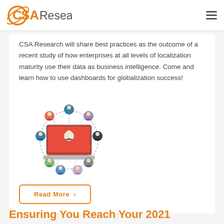CSA Research
CSA Research will share best practices as the outcome of a recent study of how enterprises at all levels of localization maturity use their data as business intelligence. Come and learn how to use dashboards for globalization success!
[Figure (illustration): Illustration of a laptop with a person on screen connected to multiple people icons in a circular network diagram with dashed lines.]
Read More >
Ensuring You Reach Your 2021